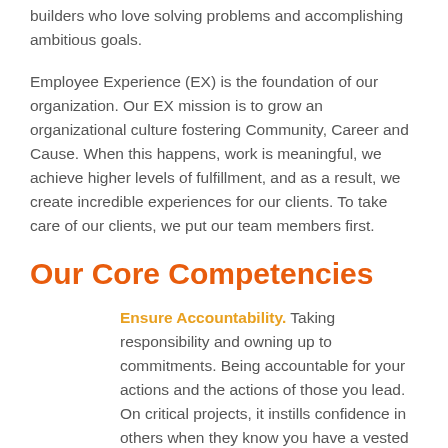builders who love solving problems and accomplishing ambitious goals.
Employee Experience (EX) is the foundation of our organization. Our EX mission is to grow an organizational culture fostering Community, Career and Cause. When this happens, work is meaningful, we achieve higher levels of fulfillment, and as a result, we create incredible experiences for our clients. To take care of our clients, we put our team members first.
Our Core Competencies
Ensure Accountability. Taking responsibility and owning up to commitments. Being accountable for your actions and the actions of those you lead. On critical projects, it instills confidence in others when they know you have a vested interest in the positive outcome everyone is